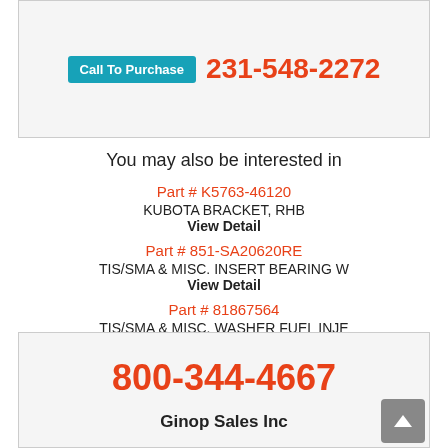Call To Purchase 231-548-2272
You may also be interested in
Part # K5763-46120
KUBOTA BRACKET, RHB
View Detail
Part # 851-SA20620RE
TIS/SMA & MISC. INSERT BEARING W
View Detail
Part # 81867564
TIS/SMA & MISC. WASHER FUEL INJE
View Detail
800-344-4667
Ginop Sales Inc